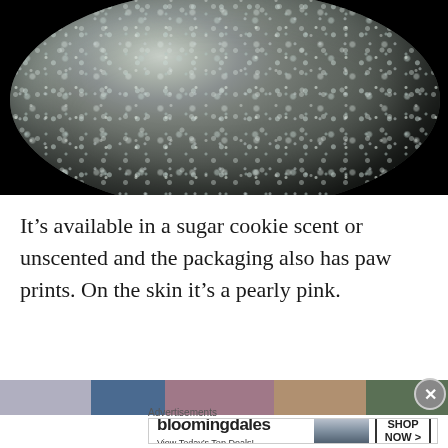[Figure (photo): Close-up macro photograph of a circular cosmetic highlighter or eyeshadow pan showing a glittery, pearly silver-pink shimmer texture on a black background]
It’s available in a sugar cookie scent or unscented and the packaging also has paw prints. On the skin it’s a pearly pink.
[Figure (photo): Partial bottom strip showing color swatches in muted purple, navy blue, mauve/pink, tan/brown, and dark green tones]
Advertisements
[Figure (other): Bloomingdale's advertisement banner showing logo, 'View Today’s Top Deals!' text, a model in a wide-brim hat, and a 'SHOP NOW >' button]